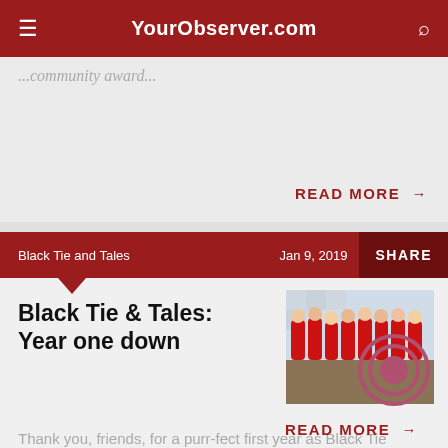YourObserver.com
...partially visible text...
READ MORE →
Black Tie and Tales   Jan 9, 2019   SHARE
Black Tie & Tales: Year one down
[Figure (photo): Group of young women in red shirts posing in front of a checkered backdrop at an event]
Thank you, friends, for a purr-fect first year as Black Tie Reporter.
READ MORE →